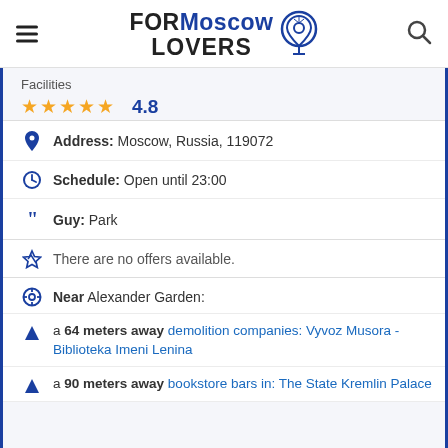FOR Moscow LOVERS
Facilities
★★★★★  4.8
Address: Moscow, Russia, 119072
Schedule: Open until 23:00
Guy: Park
There are no offers available.
Near Alexander Garden:
a 64 meters away demolition companies: Vyvoz Musora - Biblioteka Imeni Lenina
a 90 meters away bookstore bars in: The State Kremlin Palace